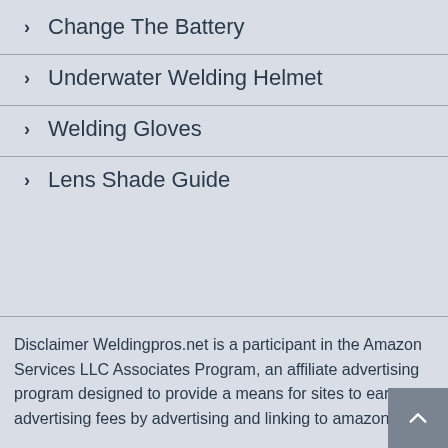Change The Battery
Underwater Welding Helmet
Welding Gloves
Lens Shade Guide
Disclaimer Weldingpros.net is a participant in the Amazon Services LLC Associates Program, an affiliate advertising program designed to provide a means for sites to earn advertising fees by advertising and linking to amazon.com.